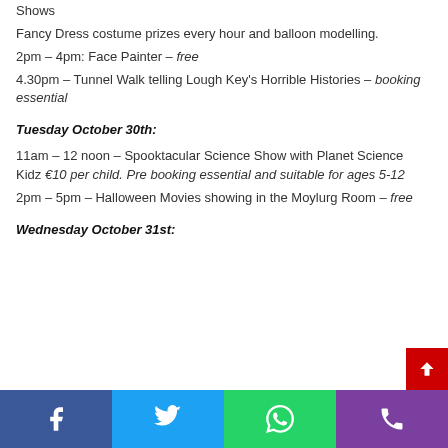Shows
Fancy Dress costume prizes every hour and balloon modelling.
2pm – 4pm: Face Painter – free
4.30pm – Tunnel Walk telling Lough Key's Horrible Histories – booking essential
Tuesday October 30th:
11am – 12 noon – Spooktacular Science Show with Planet Science Kidz €10 per child. Pre booking essential and suitable for ages 5-12
2pm – 5pm – Halloween Movies showing in the Moylurg Room – free
Wednesday October 31st: